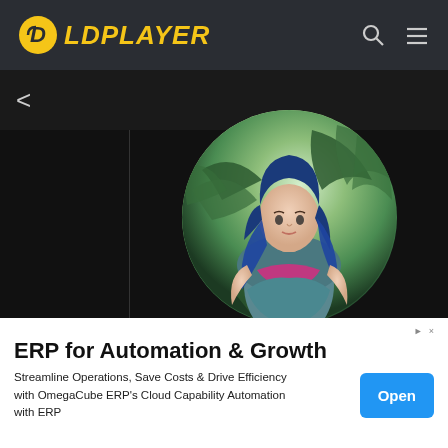[Figure (logo): LDPlayer logo with yellow icon and yellow italic text on dark nav bar]
<
[Figure (illustration): Circular cropped illustration of a female game character (likely Karma from League of Legends) with blue hair, pink/teal outfit, surrounded by green foliage branches on a light green background]
A
Heimerdinger
[Figure (illustration): Partially visible circular champion portrait, tan/beige tones, bottom of page]
ERP for Automation & Growth
Streamline Operations, Save Costs & Drive Efficiency with OmegaCube ERP's Cloud Capability Automation with ERP
Open